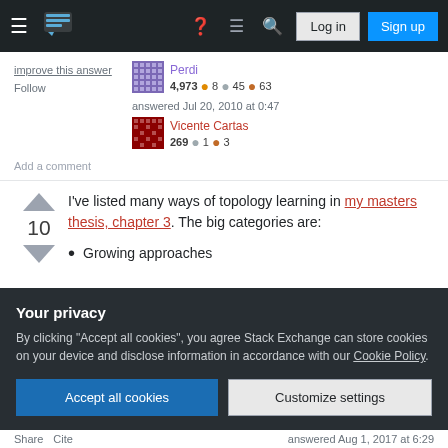Stack Exchange navigation — Log in | Sign up
improve this answer
Follow
Perdi 4,973 ● 8 ● 45 ● 63
answered Jul 20, 2010 at 0:47
Vicente Cartas 269 ● 1 ● 3
Add a comment
I've listed many ways of topology learning in my masters thesis, chapter 3. The big categories are:
Growing approaches
Your privacy
By clicking "Accept all cookies", you agree Stack Exchange can store cookies on your device and disclose information in accordance with our Cookie Policy.
Accept all cookies | Customize settings
Share  Cite    answered Aug 1, 2017 at 6:29